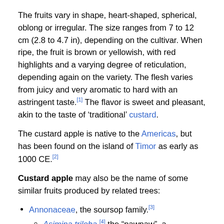The fruits vary in shape, heart-shaped, spherical, oblong or irregular. The size ranges from 7 to 12 cm (2.8 to 4.7 in), depending on the cultivar. When ripe, the fruit is brown or yellowish, with red highlights and a varying degree of reticulation, depending again on the variety. The flesh varies from juicy and very aromatic to hard with an astringent taste.[1] The flavor is sweet and pleasant, akin to the taste of 'traditional' custard.
The custard apple is native to the Americas, but has been found on the island of Timor as early as 1000 CE.[2]
Custard apple may also be the name of some similar fruits produced by related trees:
Annonaceae, the soursop family.[3]
Asimina triloba,[4] the "pawpaw", a deciduous tree, ranging from southern Ontario to Texas and Florida,